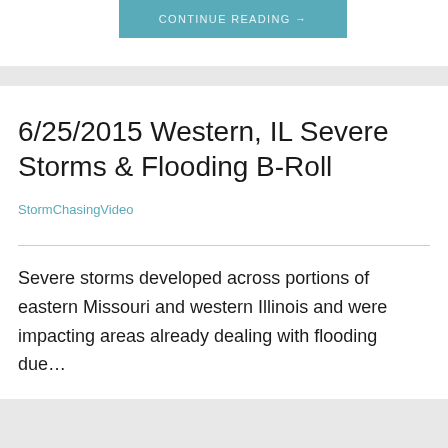CONTINUE READING →
6/25/2015 Western, IL Severe Storms & Flooding B-Roll
StormChasingVideo
Severe storms developed across portions of eastern Missouri and western Illinois and were impacting areas already dealing with flooding due…